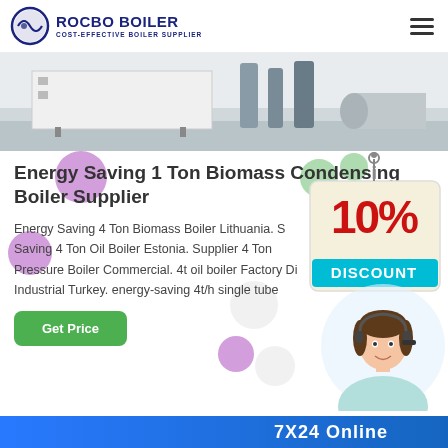[Figure (logo): Rocbo Boiler logo with circular icon and text 'ROCBO BOILER / COST-EFFECTIVE BOILER SUPPLIER']
[Figure (photo): Industrial boiler equipment in a factory floor setting]
Energy Saving 1 Ton Biomass Condensing Boiler Supplier
Energy Saving 4 Ton Biomass Boiler Lithuania. Saving 4 Ton Oil Boiler Estonia. Supplier 4 Ton Pressure Boiler Commercial. 4t oil boiler Factory Di Industrial Turkey. energy-saving 4t/h single tube
[Figure (infographic): 10% Discount badge/tag graphic in red and teal]
[Figure (photo): Customer service agent woman with headset smiling]
Get Price
7X24 Online